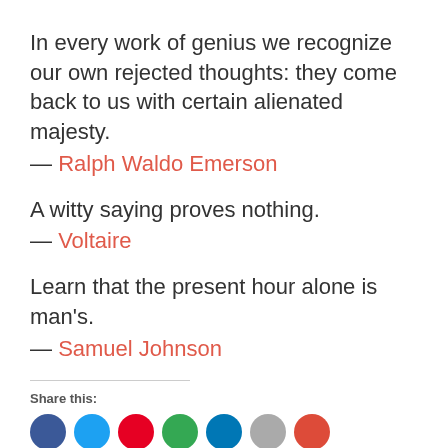In every work of genius we recognize our own rejected thoughts: they come back to us with certain alienated majesty.
— Ralph Waldo Emerson
A witty saying proves nothing.
— Voltaire
Learn that the present hour alone is man's.
— Samuel Johnson
Share this:
[Figure (other): Row of social media share buttons (Facebook, Twitter, Pinterest, Email, LinkedIn, and others) as colored circles, partially visible at the bottom of the page.]